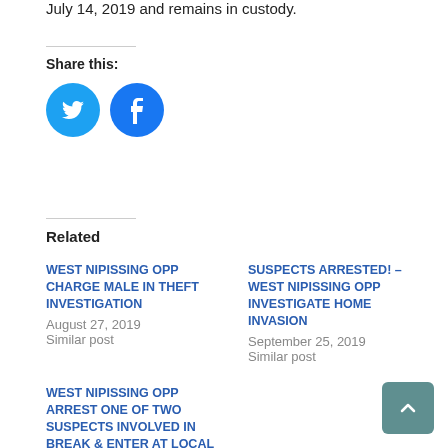July 14, 2019 and remains in custody.
Share this:
[Figure (infographic): Twitter and Facebook circular share buttons]
Related
WEST NIPISSING OPP CHARGE MALE IN THEFT INVESTIGATION
August 27, 2019
Similar post
SUSPECTS ARRESTED! – WEST NIPISSING OPP INVESTIGATE HOME INVASION
September 25, 2019
Similar post
WEST NIPISSING OPP ARREST ONE OF TWO SUSPECTS INVOLVED IN BREAK & ENTER AT LOCAL BUSINESS
July 24, 2019
Similar post